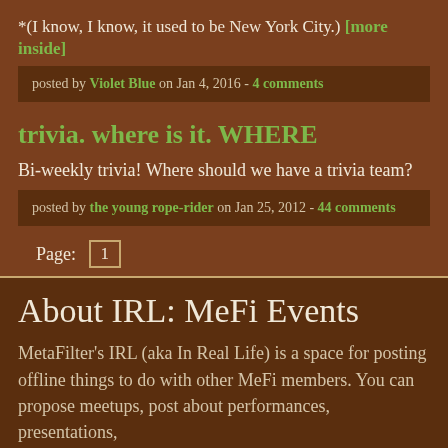*(I know, I know, it used to be New York City.) [more inside]
posted by Violet Blue on Jan 4, 2016 - 4 comments
trivia. where is it. WHERE
Bi-weekly trivia! Where should we have a trivia team?
posted by the young rope-rider on Jan 25, 2012 - 44 comments
Page: 1
About IRL: MeFi Events
MetaFilter's IRL (aka In Real Life) is a space for posting offline things to do with other MeFi members. You can propose meetups, post about performances, presentations,